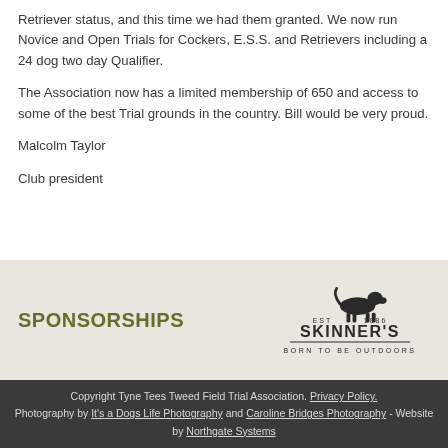Retriever status, and this time we had them granted. We now run Novice and Open Trials for Cockers, E.S.S. and Retrievers including a 24 dog two day Qualifier.
The Association now has a limited membership of 650 and access to some of the best Trial grounds in the country. Bill would be very proud.
Malcolm Taylor
Club president
SPONSORSHIPS
[Figure (logo): Skinner's dog food brand logo with a dog silhouette, EST 1886, text SKINNER'S BORN TO BE OUTDOORS]
Copyright Tyne Tees Tweed Field Trial Association. Privacy Policy. Photography by It's a Dogs Life Photography and Caroline Bridges Photography - Website by Northgate Systems